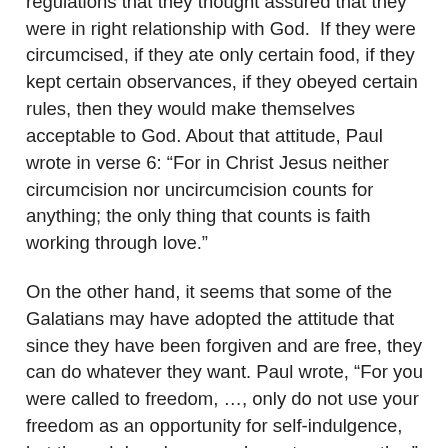up their freedom to submit to rules and regulations that they thought assured that they were in right relationship with God.  If they were circumcised, if they ate only certain food, if they kept certain observances, if they obeyed certain rules, then they would make themselves acceptable to God. About that attitude, Paul wrote in verse 6: “For in Christ Jesus neither circumcision nor uncircumcision counts for anything; the only thing that counts is faith working through love.”
On the other hand, it seems that some of the Galatians may have adopted the attitude that since they have been forgiven and are free, they can do whatever they want. Paul wrote, “For you were called to freedom, …, only do not use your freedom as an opportunity for self-indulgence, but through love become slaves to one another” (5:13-14).